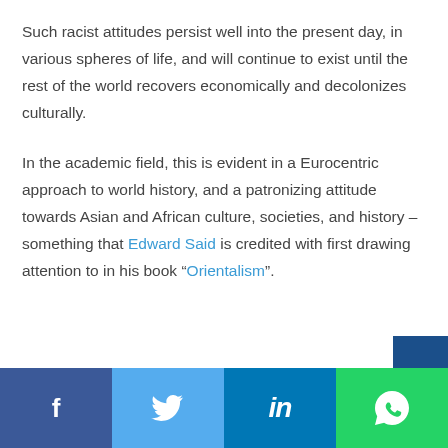Such racist attitudes persist well into the present day, in various spheres of life, and will continue to exist until the rest of the world recovers economically and decolonizes culturally.
In the academic field, this is evident in a Eurocentric approach to world history, and a patronizing attitude towards Asian and African culture, societies, and history – something that Edward Said is credited with first drawing attention to in his book “Orientalism”.